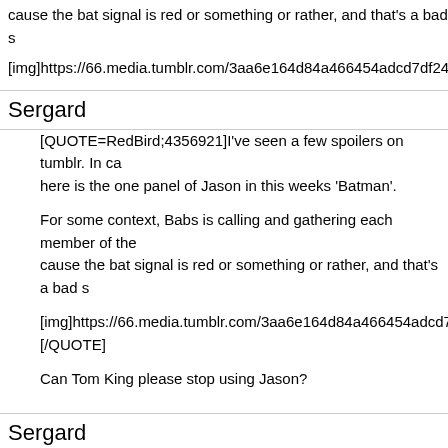cause the bat signal is red or something or rather, and that's a bad s…
[img]https://66.media.tumblr.com/3aa6e164d84a466454adcd7df24c…
Sergard
[QUOTE=RedBird;4356921]I've seen a few spoilers on tumblr. In ca… here is the one panel of Jason in this weeks 'Batman'.

For some context, Babs is calling and gathering each member of the… cause the bat signal is red or something or rather, and that's a bad s…

[img]https://66.media.tumblr.com/3aa6e164d84a466454adcd7df24c…
[/QUOTE]

Can Tom King please stop using Jason?
Sergard
So that's what Rocafort has been working on.

[IMG]https://mlpnk72yciwc.i.optimole.com/w:644/h:990/q:auto/https:… content/uploads/2019/05/hdn670m.jpg[/IMG]